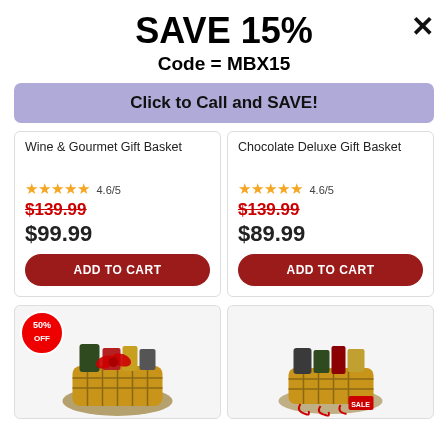SAVE 15%
Code = MBX15
Click to Call and SAVE!
Wine & Gourmet Gift Basket
★★★★★ 4.6/5
$139.99
$99.99
ADD TO CART
Chocolate Deluxe Gift Basket
★★★★★ 4.6/5
$139.99
$89.99
ADD TO CART
[Figure (photo): Gift basket product photo with 50% OFF badge and red ribbon bow with assorted gourmet items]
[Figure (photo): Gift basket product photo with assorted chocolates and red decorative items, SALE tag visible]